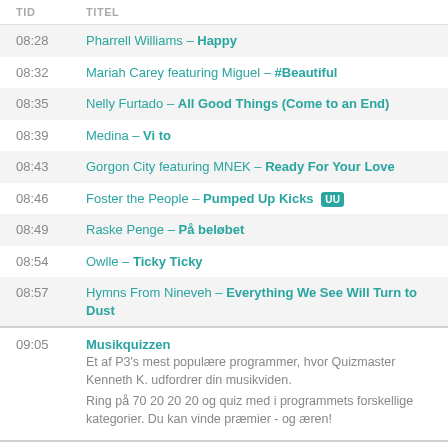| TID | TITEL |
| --- | --- |
| 08:28 | Pharrell Williams – Happy |
| 08:32 | Mariah Carey featuring Miguel – #Beautiful |
| 08:35 | Nelly Furtado – All Good Things (Come to an End) |
| 08:39 | Medina – Vi to |
| 08:43 | Gorgon City featuring MNEK – Ready For Your Love |
| 08:46 | Foster the People – Pumped Up Kicks [UU] |
| 08:49 | Raske Penge – På beløbet |
| 08:54 | Owlle – Ticky Ticky |
| 08:57 | Hymns From Nineveh – Everything We See Will Turn to Dust |
| 09:05 | Musikquizzen — Et af P3's mest populære programmer, hvor Quizmaster Kenneth K. udfordrer din musikviden. Ring på 70 20 20 20 og quiz med i programmets forskellige kategorier. Du kan vinde præmier - og æren! |
| 09:05 | Medina – For altid |
| 09:10 | American Authors – Best Day of My Life |